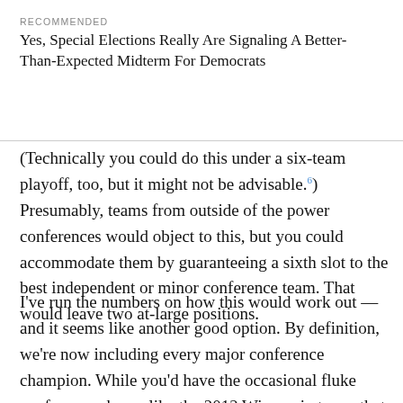RECOMMENDED
Yes, Special Elections Really Are Signaling A Better-Than-Expected Midterm For Democrats
(Technically you could do this under a six-team playoff, too, but it might not be advisable.6) Presumably, teams from outside of the power conferences would object to this, but you could accommodate them by guaranteeing a sixth slot to the best independent or minor conference team. That would leave two at-large positions.
I've run the numbers on how this would work out — and it seems like another good option. By definition, we're now including every major conference champion. While you'd have the occasional fluke conference champ like the 2012 Wisconsin team, that might be an acceptable price for reducing the subjectivity in the process. Non-champion teams from